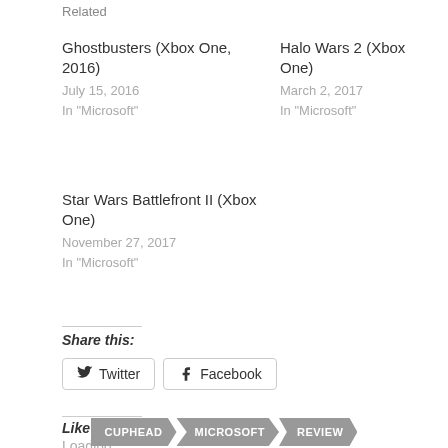Related
Ghostbusters (Xbox One, 2016)
July 15, 2016
In "Microsoft"
Halo Wars 2 (Xbox One)
March 2, 2017
In "Microsoft"
Star Wars Battlefront II (Xbox One)
November 27, 2017
In "Microsoft"
Share this:
Twitter
Facebook
Like this:
Loading...
CUPHEAD  MICROSOFT  REVIEW